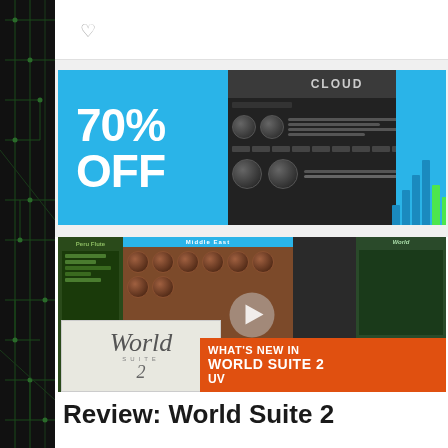[Figure (screenshot): Left decorative sidebar with dark background and green circuit board pattern lines]
[Figure (screenshot): Heart/like icon in top bar]
[Figure (screenshot): Advertisement banner showing '70% OFF' in white text on cyan/blue background, alongside a synthesizer plugin UI called CLOUD]
[Figure (screenshot): Video thumbnail showing World Suite 2 plugin — Peru Flute panel, Middle East interface, World Suite 2 logo box, keyboard, play button overlay, and orange banner reading WHAT'S NEW IN WORLD SUITE 2 UV]
Review: World Suite 2